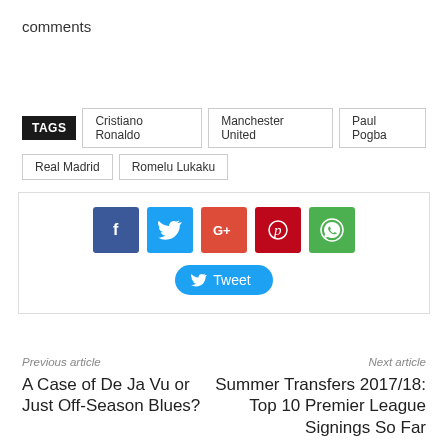comments
TAGS  Cristiano Ronaldo  Manchester United  Paul Pogba  Real Madrid  Romelu Lukaku
[Figure (infographic): Social share buttons: Facebook (blue), Twitter (light blue), Google+ (red-orange), Pinterest (dark red), WhatsApp (green), and a Tweet button below]
Previous article
Next article
A Case of De Ja Vu or Just Off-Season Blues?
Summer Transfers 2017/18: Top 10 Premier League Signings So Far